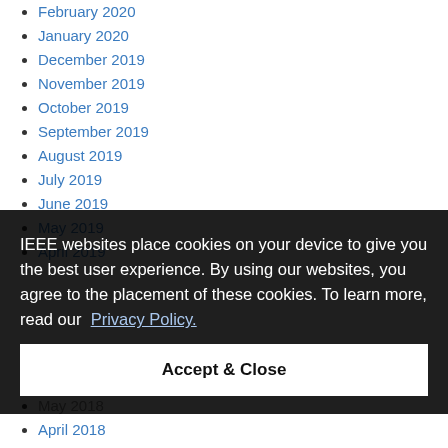February 2020
January 2020
December 2019
November 2019
October 2019
September 2019
August 2019
July 2019
June 2019
May 2019
April 2019
IEEE websites place cookies on your device to give you the best user experience. By using our websites, you agree to the placement of these cookies. To learn more, read our Privacy Policy.
June 2018
May 2018
April 2018